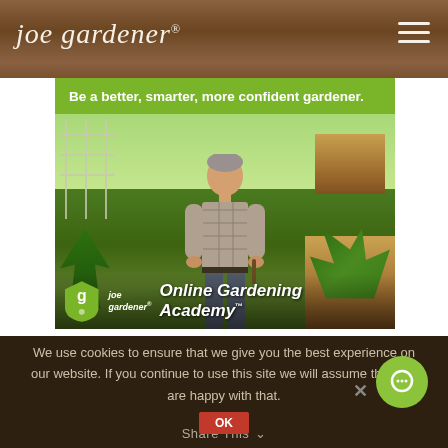joe gardener®
[Figure (screenshot): Joe Gardener Online Gardening Academy promotional banner showing a man in a plaid shirt standing in a raised-bed vegetable garden, with green banner text 'Be a better, smarter, more confident gardener.' and the joe gardener Online Gardening Academy logo at the bottom]
We use cookies to ensure that we give you the best experience on our website. If you continue to use this site we will assume that you are happy with that.
Share This